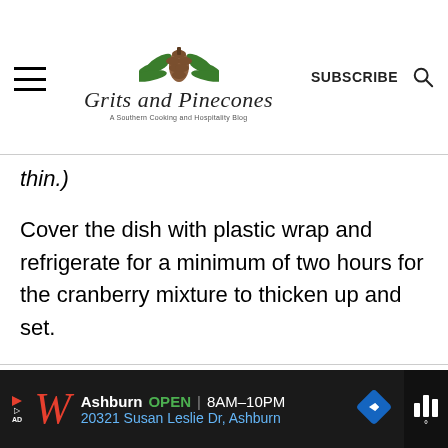Grits and Pinecones — A Southern Cooking and Hospitality Blog
thin.)
Cover the dish with plastic wrap and refrigerate for a minimum of two hours for the cranberry mixture to thicken up and set.
[Figure (other): Advertisement banner for Walgreens: Ashburn OPEN 8AM–10PM, 20321 Susan Leslie Dr, Ashburn]